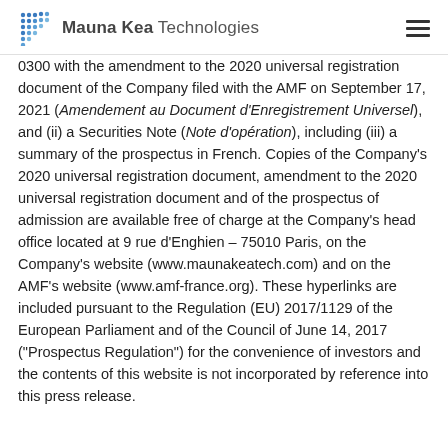Mauna Kea Technologies
0300 with the amendment to the 2020 universal registration document of the Company filed with the AMF on September 17, 2021 (Amendement au Document d'Enregistrement Universel), and (ii) a Securities Note (Note d'opération), including (iii) a summary of the prospectus in French. Copies of the Company's 2020 universal registration document, amendment to the 2020 universal registration document and of the prospectus of admission are available free of charge at the Company's head office located at 9 rue d'Enghien – 75010 Paris, on the Company's website (www.maunakeatech.com) and on the AMF's website (www.amf-france.org). These hyperlinks are included pursuant to the Regulation (EU) 2017/1129 of the European Parliament and of the Council of June 14, 2017 ("Prospectus Regulation") for the convenience of investors and the contents of this website is not incorporated by reference into this press release.